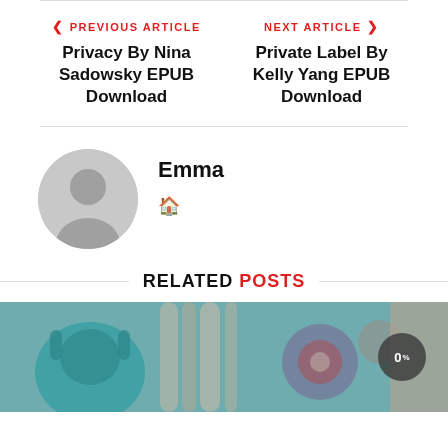< PREVIOUS ARTICLE
Privacy By Nina Sadowsky EPUB Download
NEXT ARTICLE >
Private Label By Kelly Yang EPUB Download
Emma
[Figure (illustration): Blurred image of headphones and hair accessories]
RELATED POSTS